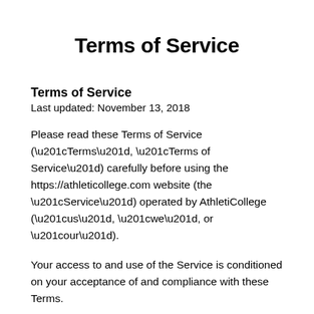Terms of Service
Terms of Service
Last updated: November 13, 2018
Please read these Terms of Service (“Terms”, “Terms of Service”) carefully before using the https://athleticollege.com website (the “Service”) operated by AthletiCollege (“us”, “we”, or “our”).
Your access to and use of the Service is conditioned on your acceptance of and compliance with these Terms.